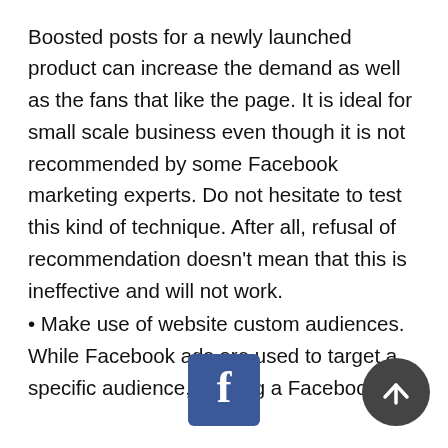Boosted posts for a newly launched product can increase the demand as well as the fans that like the page. It is ideal for small scale business even though it is not recommended by some Facebook marketing experts. Do not hesitate to test this kind of technique. After all, refusal of recommendation doesn't mean that this is ineffective and will not work.
• Make use of website custom audiences. While Facebook ads are used to target a specific audience, running a Facebook ad